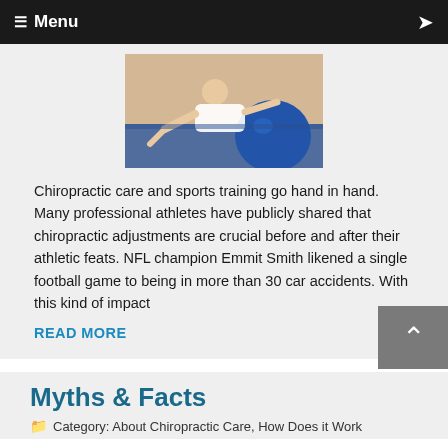Menu
[Figure (photo): Person doing an exercise on a blue mat with a blue stability ball and resistance band in a gym setting]
Chiropractic care and sports training go hand in hand. Many professional athletes have publicly shared that chiropractic adjustments are crucial before and after their athletic feats. NFL champion Emmit Smith likened a single football game to being in more than 30 car accidents. With this kind of impact
READ MORE
Myths & Facts
Category: About Chiropractic Care, How Does it Work